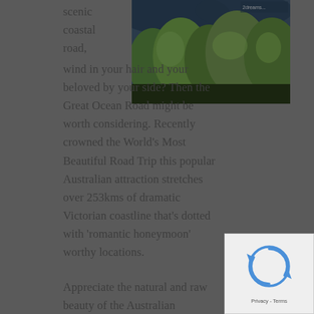[Figure (photo): Scenic landscape photo showing trees and dramatic coastal scenery, appears to be Australian bush/coastal vegetation with a dark moody sky]
scenic coastal road, wind in your hair and your beloved by your side? Then the Great Ocean Road might be worth considering. Recently crowned the World's Most Beautiful Road Trip this popular Australian attraction stretches over 253kms of dramatic Victorian coastline that's dotted with 'romantic honeymoon' worthy locations.

Appreciate the natural and raw beauty of the Australian...
[Figure (other): reCAPTCHA widget with checkbox and Privacy/Terms text]